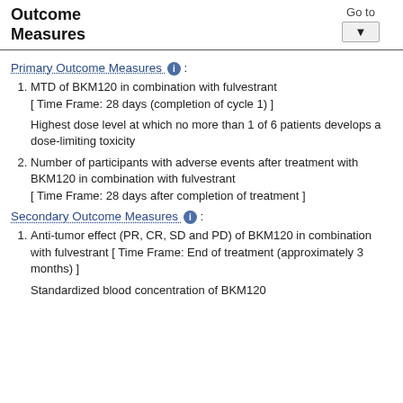Outcome Measures   Go to
Primary Outcome Measures :
MTD of BKM120 in combination with fulvestrant [ Time Frame: 28 days (completion of cycle 1) ] Highest dose level at which no more than 1 of 6 patients develops a dose-limiting toxicity
Number of participants with adverse events after treatment with BKM120 in combination with fulvestrant [ Time Frame: 28 days after completion of treatment ]
Secondary Outcome Measures :
Anti-tumor effect (PR, CR, SD and PD) of BKM120 in combination with fulvestrant [ Time Frame: End of treatment (approximately 3 months) ]
Standardized blood concentration of BKM120...